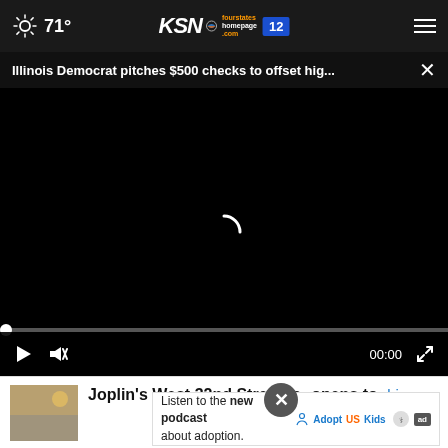71° KSN fourstates homepage.com 12
Illinois Democrat pitches $500 checks to offset hig... ×
[Figure (screenshot): Black video player area with loading spinner and video controls showing play button, mute icon, 00:00 timestamp, and fullscreen button. A progress bar with a white dot is at the top of the controls.]
Joplin's West 32nd Street reopens to drivers
[Figure (photo): Small thumbnail image of a street scene]
Listen to the new podcast about adoption.
[Figure (logo): Adopt US Kids logo with figure icon and ad badge]